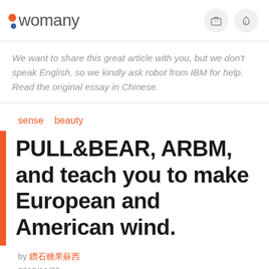womany
We want to share this great article with you, but we don't speak English, so we kindly ask robot from IBM for help. Read the original essay in Chinese.
sense   beauty
PULL&BEAR, ARBM, and teach you to make European and American wind.
by 鑽石糖果蘇西
2013/11/29